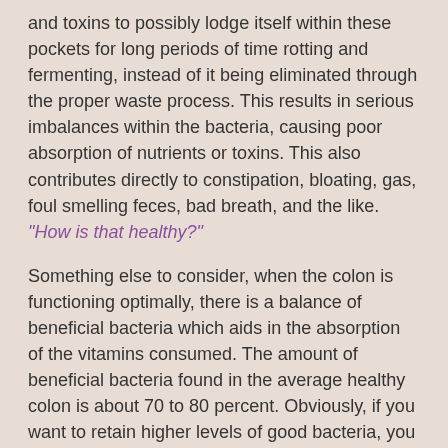and toxins to possibly lodge itself within these pockets for long periods of time rotting and fermenting, instead of it being eliminated through the proper waste process. This results in serious imbalances within the bacteria, causing poor absorption of nutrients or toxins. This also contributes directly to constipation, bloating, gas, foul smelling feces, bad breath, and the like. "How is that healthy?"
Something else to consider, when the colon is functioning optimally, there is a balance of beneficial bacteria which aids in the absorption of the vitamins consumed. The amount of beneficial bacteria found in the average healthy colon is about 70 to 80 percent. Obviously, if you want to retain higher levels of good bacteria, you need to consumer a higher quality diet, in addition to practicing proper elimination. Just to give you an idea of the time involved to digest food, the whole process should take about 18 to 24 hours from consumption to elimination. This means that no waste is blocked or slowly flowing through the colon. If you eat a plate of food, you should eliminate a plate's worth of waste or close to it.